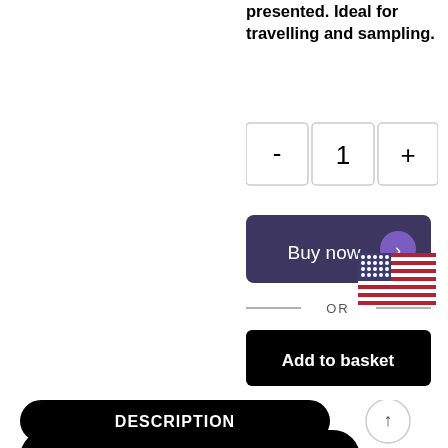presented. Ideal for travelling and sampling.
[Figure (other): Quantity selector with minus button, quantity field showing '1', and plus button]
[Figure (other): Buy now button (dark purple/navy with arrow icon) with US flag overlay in top right]
— OR —
[Figure (other): Add to basket button (black, rounded rectangle)]
[Figure (other): DESCRIPTION tab button (black, rounded) and scroll-to-top arrow button circle]
[Figure (other): ADDITIONAL tab button (black, rounded, partially cut off at bottom)]